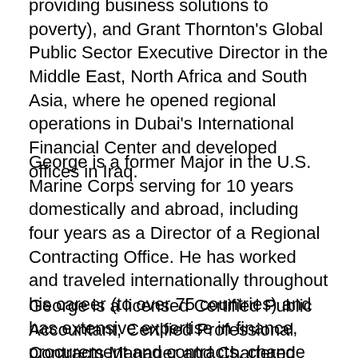providing business solutions to poverty), and Grant Thornton's Global Public Sector Executive Director in the Middle East, North Africa and South Asia, where he opened regional operations in Dubai's International Financial Center and developed offices in Iraq.
George is a former Major in the U.S. Marine Corps serving for 10 years domestically and abroad, including four years as a Director of a Regional Contracting Office. He has worked and traveled internationally throughout his career (to over 75 countries) and has extensive expertise in finance, procurement and contracts, change management, transparency, as well as capacity building efforts in developing countries.
George is a licensed Certified Public Accountant, Certified Professional Contracts Manager and Chartered Global Management Accountant. He holds degrees in Accounting from the Illinois Institute of Technology and an M.S. in Acquisition and Contract Management from the U.S.